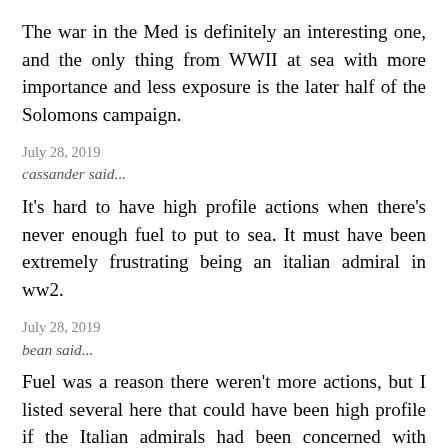The war in the Med is definitely an interesting one, and the only thing from WWII at sea with more importance and less exposure is the later half of the Solomons campaign.
July 28, 2019
cassander said...
It's hard to have high profile actions when there's never enough fuel to put to sea. It must have been extremely frustrating being an italian admiral in ww2.
July 28, 2019
bean said...
Fuel was a reason there weren't more actions, but I listed several here that could have been high profile if the Italian admirals had been concerned with actually closing with and destroying the British. I